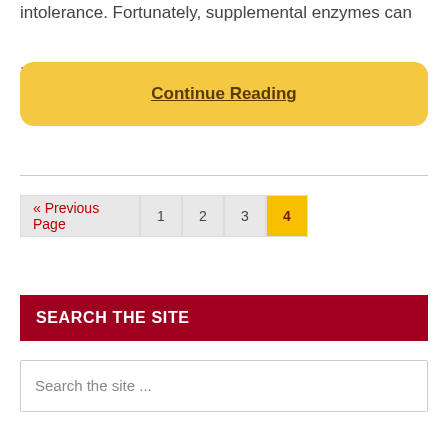intolerance. Fortunately, supplemental enzymes can
...
Continue Reading
« Previous Page
1
2
3
4
SEARCH THE SITE
Search the site ...